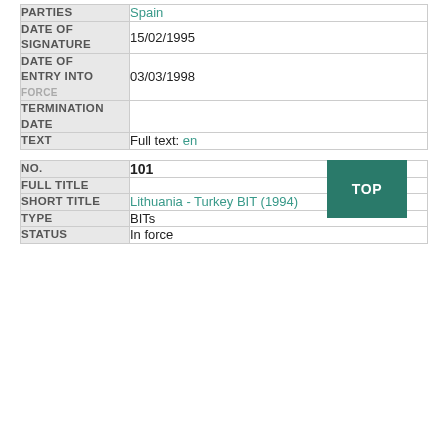| Field | Value |
| --- | --- |
| PARTIES | Spain |
| DATE OF SIGNATURE | 15/02/1995 |
| DATE OF ENTRY INTO FORCE | 03/03/1998 |
| TERMINATION DATE |  |
| TEXT | Full text: en |
| Field | Value |
| --- | --- |
| NO. | 101 |
| FULL TITLE |  |
| SHORT TITLE | Lithuania - Turkey BIT (1994) |
| TYPE | BITs |
| STATUS | In force |